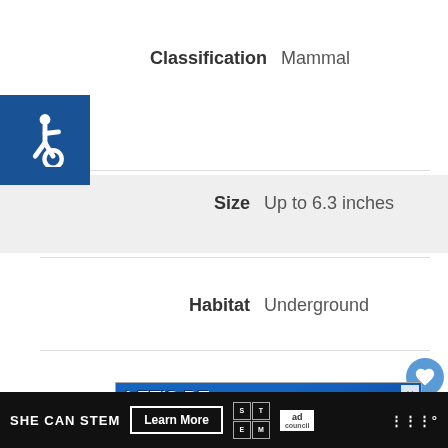Classification   Mammal
Size   Up to 6.3 inches
Habitat   Underground
[Figure (screenshot): Blue advertisement with bold white italic text reading 'LET'S BE FRIENDS' with a dog visible at the bottom]
[Figure (logo): Accessibility wheelchair icon in blue square]
[Figure (infographic): SHE CAN STEM ad bar with Learn More button, STEM and Ad Council logos]
[Figure (other): Heart/favorite button (blue circle with heart icon), count '3', and share button]